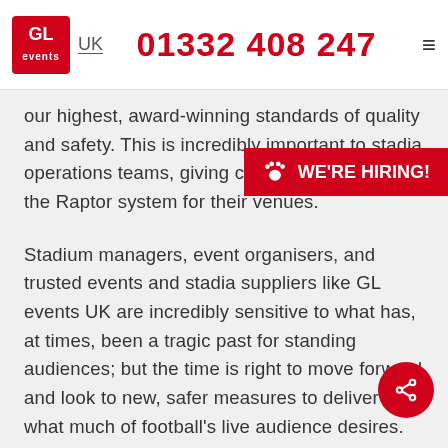GL events UK  01332 408 247
our highest, award-winning standards of quality and safety. This is incredibly important to stadia operations teams, giving confidence to choose the Raptor system for their venues.
Stadium managers, event organisers, and trusted events and stadia suppliers like GL events UK are incredibly sensitive to what has, at times, been a tragic past for standing audiences; but the time is right to move forward and look to new, safer measures to deliver what much of football's live audience desires. The Raptor could be the design solution that everyone is looking for.